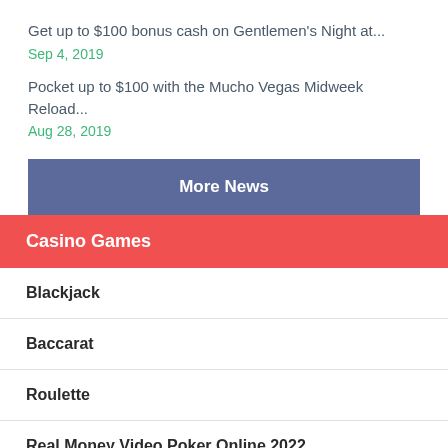Get up to $100 bonus cash on Gentlemen's Night at...
Sep 4, 2019
Pocket up to $100 with the Mucho Vegas Midweek Reload...
Aug 28, 2019
More News
Casino Games
Blackjack
Baccarat
Roulette
Real Money Video Poker Online 2022